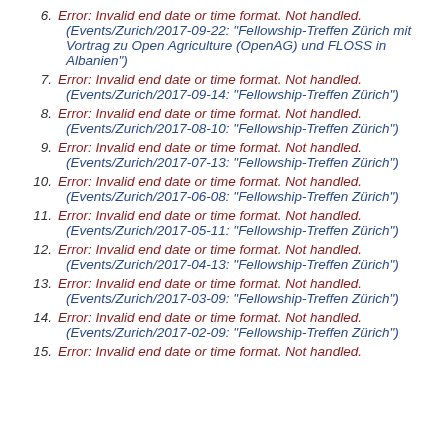6. Error: Invalid end date or time format. Not handled. (Events/Zurich/2017-09-22: "Fellowship-Treffen Zürich mit Vortrag zu Open Agriculture (OpenAG) und FLOSS in Albanien")
7. Error: Invalid end date or time format. Not handled. (Events/Zurich/2017-09-14: "Fellowship-Treffen Zürich")
8. Error: Invalid end date or time format. Not handled. (Events/Zurich/2017-08-10: "Fellowship-Treffen Zürich")
9. Error: Invalid end date or time format. Not handled. (Events/Zurich/2017-07-13: "Fellowship-Treffen Zürich")
10. Error: Invalid end date or time format. Not handled. (Events/Zurich/2017-06-08: "Fellowship-Treffen Zürich")
11. Error: Invalid end date or time format. Not handled. (Events/Zurich/2017-05-11: "Fellowship-Treffen Zürich")
12. Error: Invalid end date or time format. Not handled. (Events/Zurich/2017-04-13: "Fellowship-Treffen Zürich")
13. Error: Invalid end date or time format. Not handled. (Events/Zurich/2017-03-09: "Fellowship-Treffen Zürich")
14. Error: Invalid end date or time format. Not handled. (Events/Zurich/2017-02-09: "Fellowship-Treffen Zürich")
15. Error: Invalid end date or time format. Not handled.